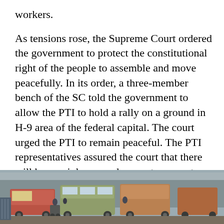workers.
As tensions rose, the Supreme Court ordered the government to protect the constitutional right of the people to assemble and move peacefully. In its order, a three-member bench of the SC told the government to allow the PTI to hold a rally on a ground in H-9 area of the federal capital. The court urged the PTI to remain peaceful. The PTI representatives assured the court that there will be no violence or damage to property.
The government also said the march was timed to coincide with the start of a round of talks with the IMF. It accused the PTI of trying to sabotage the talks.
[Figure (photo): Street scene showing vehicles including trucks and buses in an urban setting, possibly a protest or traffic situation.]